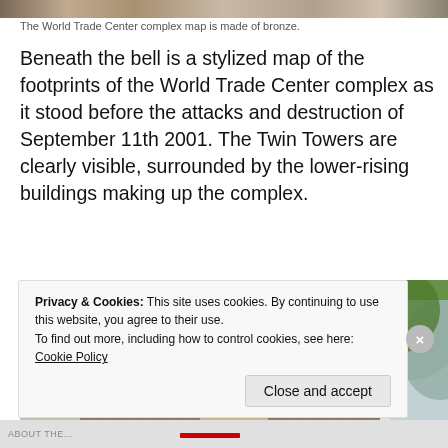[Figure (photo): Top strip of a photo showing what appears to be stone or brick architectural detail]
The World Trade Center complex map is made of bronze.
Beneath the bell is a stylized map of the footprints of the World Trade Center complex as it stood before the attacks and destruction of September 11th 2001. The Twin Towers are clearly visible, surrounded by the lower-rising buildings making up the complex.
[Figure (photo): Photograph of a historic stone church building surrounded by trees with green foliage, featuring arched windows and a classical architectural style.]
Privacy & Cookies: This site uses cookies. By continuing to use this website, you agree to their use.
To find out more, including how to control cookies, see here: Cookie Policy
Close and accept